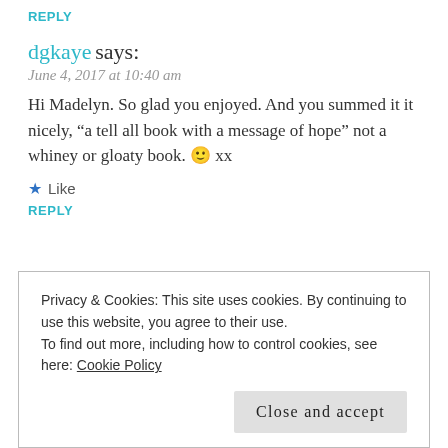REPLY
dgkaye says:
June 4, 2017 at 10:40 am
Hi Madelyn. So glad you enjoyed. And you summed it it nicely, “a tell all book with a message of hope” not a whiney or gloaty book. 🙂 xx
★ Like
REPLY
Madelyn Griffith-Haynie, MCC, SCAC says:
June 4, 2017 at 12:22 pm
Privacy & Cookies: This site uses cookies. By continuing to use this website, you agree to their use.
To find out more, including how to control cookies, see here: Cookie Policy